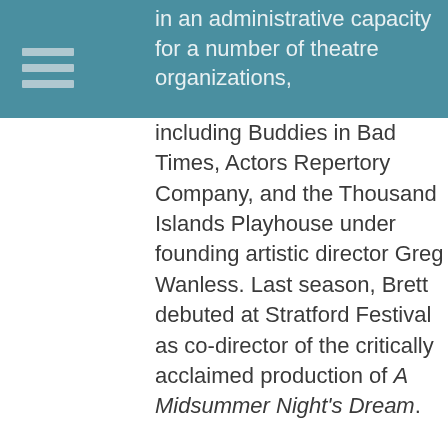in an administrative capacity for a number of theatre organizations, including Buddies in Bad Times, Actors Repertory Company, and the Thousand Islands Playhouse under founding artistic director Greg Wanless. Last season, Brett debuted at Stratford Festival as co-director of the critically acclaimed production of A Midsummer Night's Dream.
In between times, Brett also takes the occasional role in local independent films and sits on an Arts Advocacy committee of the Kingston Arts Council. He lives here in Kingston with his wife and two daughters, and at last year's Kingston WritersFest